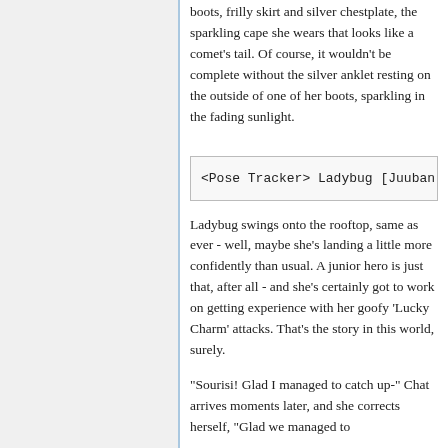boots, frilly skirt and silver chestplate, the sparkling cape she wears that looks like a comet's tail. Of course, it wouldn't be complete without the silver anklet resting on the outside of one of her boots, sparkling in the fading sunlight.
<Pose Tracker> Ladybug [Juuban
Ladybug swings onto the rooftop, same as ever - well, maybe she's landing a little more confidently than usual. A junior hero is just that, after all - and she's certainly got to work on getting experience with her goofy 'Lucky Charm' attacks. That's the story in this world, surely.
"Sourisi! Glad I managed to catch up-" Chat arrives moments later, and she corrects herself, "Glad we managed to